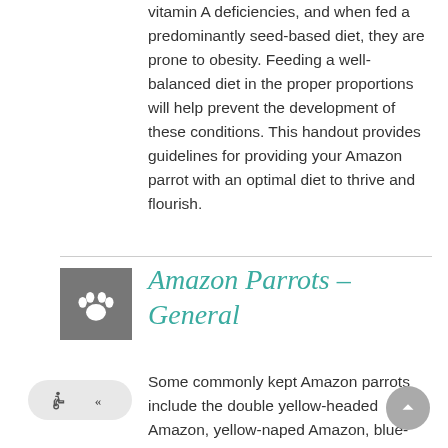vitamin A deficiencies, and when fed a predominantly seed-based diet, they are prone to obesity. Feeding a well-balanced diet in the proper proportions will help prevent the development of these conditions. This handout provides guidelines for providing your Amazon parrot with an optimal diet to thrive and flourish.
[Figure (illustration): Gray square with a white paw print icon inside]
Amazon Parrots – General
Some commonly kept Amazon parrots include the double yellow-headed Amazon, yellow-naped Amazon, blue-fronted Amazon, green-cheeked Amazon, and orange-winged Amazon. They bond readily, often with one member of the family. This one-on-one bond occasionally may lead to aggression towards others. Amazons are generally very affectionate